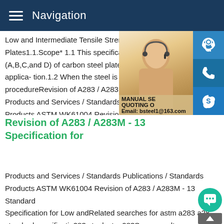Navigation
Low and Intermediate Tensile Strength Ca Plates1.1.Scope* 1.1 This specification2 c (A,B,C,and D) of carbon steel plates of str applica- tion.1.2 When the steel is to be w procedureRevision of A283 / A283M - 13 S Products and Services / Standards Publica Products ASTM WK61004 Revision of A28 Specification for Low and
[Figure (photo): Customer service representative (woman with headset) with overlaid service icons (headset, phone, Skype) and promotional text: MANUAL SE, QUOTING O, Email: bsteel1@163.com]
Revision of A283 / A283M - 13 Specification for
Products and Services / Standards Publications / Standards Products ASTM WK61004 Revision of A283 / A283M - 13 Standard Specification for Low andRelated searches for astm a283 a283 standard specificatia283 steelastm 283Some results are removed in response to a notice of local law requirement.For more